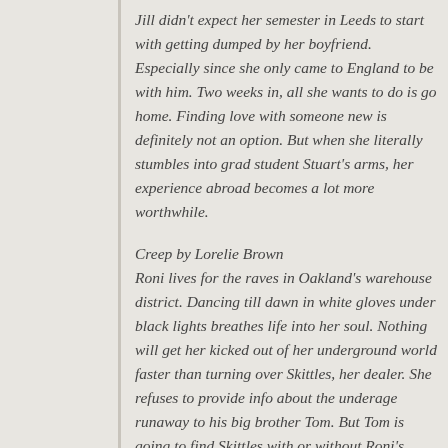Jill didn't expect her semester in Leeds to start with getting dumped by her boyfriend. Especially since she only came to England to be with him. Two weeks in, all she wants to do is go home. Finding love with someone new is definitely not an option. But when she literally stumbles into grad student Stuart's arms, her experience abroad becomes a lot more worthwhile.
Creep by Lorelie Brown
Roni lives for the raves in Oakland's warehouse district. Dancing till dawn in white gloves under black lights breathes life into her soul. Nothing will get her kicked out of her underground world faster than turning over Skittles, her dealer. She refuses to provide info about the underage runaway to his big brother Tom. But Tom is going to find Skittles with or without Roni's